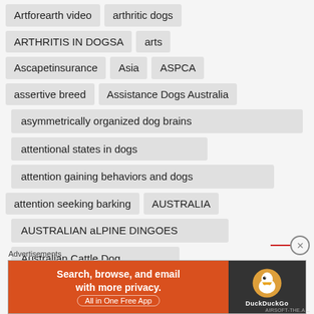Artforearth video
arthritic dogs
ARTHRITIS IN DOGSA
arts
Ascapetinsurance
Asia
ASPCA
assertive breed
Assistance Dogs Australia
asymmetrically organized dog brains
attentional states in dogs
attention gaining behaviors and dogs
attention seeking barking
AUSTRALIA
AUSTRALIAN aLPINE DINGOES
Australian Cattle Dog
Advertisements
[Figure (other): DuckDuckGo advertisement banner: orange left panel with text 'Search, browse, and email with more privacy. All in One Free App', dark right panel with DuckDuckGo duck logo and brand name.]